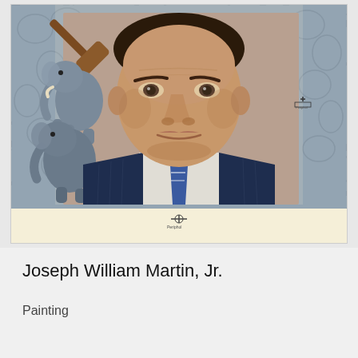[Figure (illustration): A painted portrait of a middle-aged man in a dark navy pinstripe suit with a blue and white striped tie. The background is a grey textured elephant-skin pattern. On the upper left, there are two illustrated elephants stacked, one holding a wooden gavel. The painting has registration marks on the right side and bottom, and a cream-colored lower border. The portrait has a realistic painted style.]
Joseph William Martin, Jr.
Painting